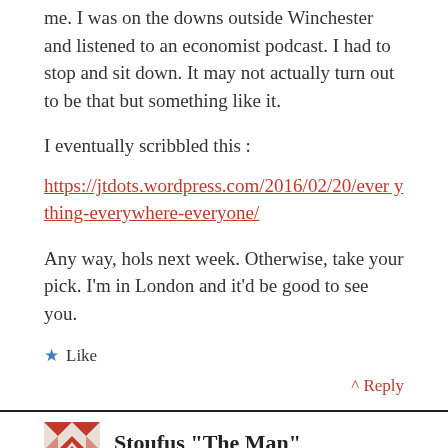me. I was on the downs outside Winchester and listened to an economist podcast. I had to stop and sit down. It may not actually turn out to be that but something like it.
I eventually scribbled this :
https://jtdots.wordpress.com/2016/02/20/everything-everywhere-everyone/
Any way, hols next week. Otherwise, take your pick. I'm in London and it'd be good to see you.
★ Like
^ Reply
Stoufus "The Man"
21/12/2016 at 9:28 pm